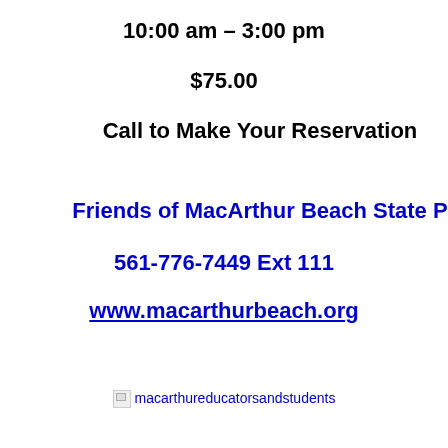10:00 am – 3:00 pm
$75.00
Call to Make Your Reservation
Friends of MacArthur Beach State P
561-776-7449 Ext 111
www.macarthurbeach.org
[Figure (other): Broken image placeholder with text: macarthureducatorsandstudents]